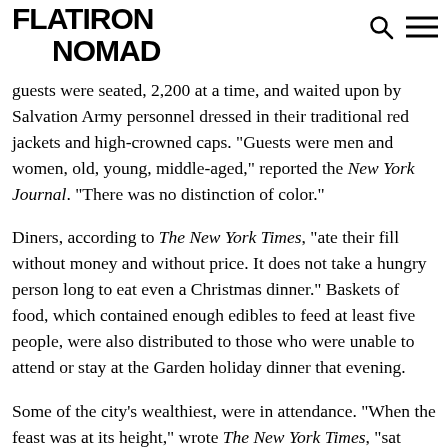FLATIRON NOMAD
guests were seated, 2,200 at a time, and waited upon by Salvation Army personnel dressed in their traditional red jackets and high-crowned caps. “Guests were men and women, old, young, middle-aged,” reported the New York Journal. “There was no distinction of color.”
Diners, according to The New York Times, “ate their fill without money and without price. It does not take a hungry person long to eat even a Christmas dinner.” Baskets of food, which contained enough edibles to feed at least five people, were also distributed to those who were unable to attend or stay at the Garden holiday dinner that evening.
Some of the city’s wealthiest, were in attendance. “When the feast was at its height,” wrote The New York Times, “sat many thousands of well-fed and prosperous people, among them many women who had come in carriages and were gorgeously gowned.” The paper also noted the “men in high hats and women in costly wraps, position and fortune forgotten for one brief moment while all sang in unison ‘Praise God, from Whom